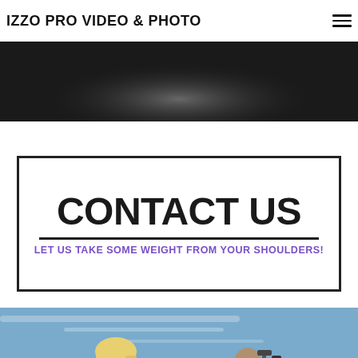IZZO PRO VIDEO & PHOTO
[Figure (photo): Dark background photograph, top portion of an image visible, showing a blurred spotlight or light orb against a dark background]
[Figure (illustration): Contact Us banner with bold black text 'CONTACT US' and purple subtitle 'LET US TAKE SOME WEIGHT FROM YOUR SHOULDERS!' with a thick border]
[Figure (photo): Photo of a woman with long blonde hair and a bearded man holding a video camera with a microphone, against a blue sky background, with a Message Us button overlay]